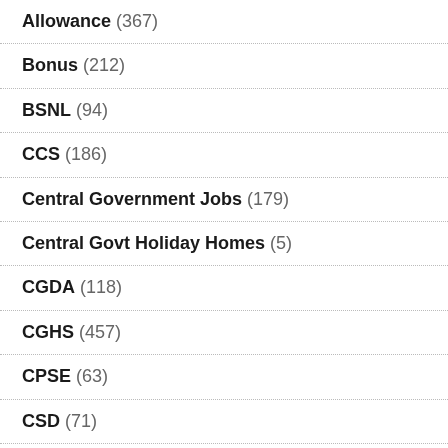Allowance (367)
Bonus (212)
BSNL (94)
CCS (186)
Central Government Jobs (179)
Central Govt Holiday Homes (5)
CGDA (118)
CGHS (457)
CPSE (63)
CSD (71)
CSS (113)
DA Over 50% (124)